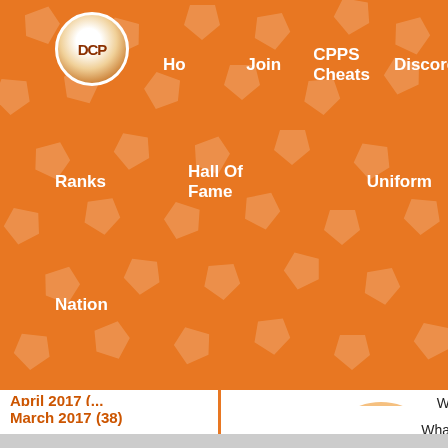Home  Join  CPPS Cheats  Discord  Ranks  Hall Of Fame  Uniform  Nation
March 2017 (38)
February 2017 (13)
January 2017 (35)
December 2016 (31)
August 2016 (13)
July 2016 (5)
June 2016 (8)
[Figure (illustration): Cartoon duck character partially visible on right side]
W
Wha
Chondare
Re
[Figure (infographic): DuckDuckGo advertisement banner: Search, browse, and email with more privacy. All in One Free App.]